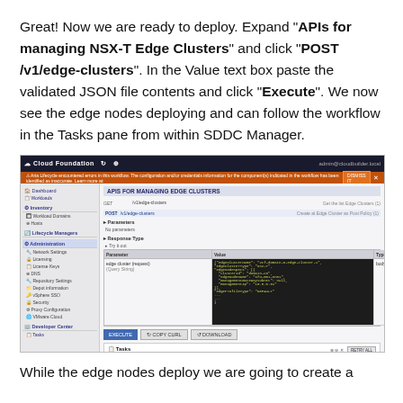Great! Now we are ready to deploy. Expand "APIs for managing NSX-T Edge Clusters" and click "POST /v1/edge-clusters". In the Value text box paste the validated JSON file contents and click "Execute". We now see the edge nodes deploying and can follow the workflow in the Tasks pane from within SDDC Manager.
[Figure (screenshot): Screenshot of Cloud Foundation SDDC Manager interface showing the NSX-T Edge Clusters API POST endpoint with JSON body input and Tasks pane showing deployment in progress.]
While the edge nodes deploy we are going to create a